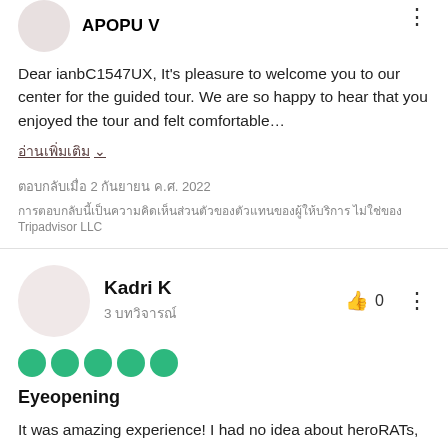APOPU V
Dear ianbC1547UX, It's pleasure to welcome you to our center for the guided tour. We are so happy to hear that you enjoyed the tour and felt comfortable…
อ่านเพิ่มเติม ∨
ตอบกลับเมื่อ 2 กันยายน ค.ศ. 2022
การตอบกลับนี้เป็นความคิดเห็นส่วนตัวของตัวแทนของผู้ให้บริการ ไม่ใช่ของ Tripadvisor LLC
Kadri K
3 บทวิจารณ์
0
Eyeopening
It was amazing experience! I had no idea about heroRATs, but they are doing amazing job! It was really educational and eye opening to what's actually happening in Cambodia because of the landmines. The tour guide also had a lot of information and we could...